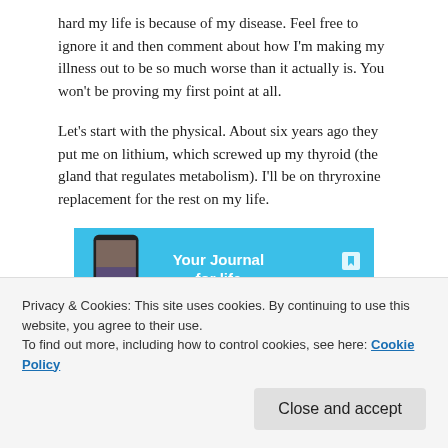hard my life is because of my disease. Feel free to ignore it and then comment about how I'm making my illness out to be so much worse than it actually is. You won't be proving my first point at all.
Let's start with the physical. About six years ago they put me on lithium, which screwed up my thyroid (the gland that regulates metabolism). I'll be on thryroxine replacement for the rest on my life.
[Figure (other): Advertisement banner for DayOne journal app showing a smartphone with app interface on a blue background with text 'Your Journal for life' and the DayOne logo]
Privacy & Cookies: This site uses cookies. By continuing to use this website, you agree to their use. To find out more, including how to control cookies, see here: Cookie Policy